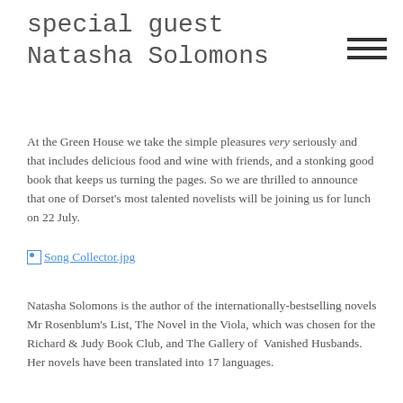special guest Natasha Solomons
At the Green House we take the simple pleasures very seriously and that includes delicious food and wine with friends, and a stonking good book that keeps us turning the pages. So we are thrilled to announce that one of Dorset's most talented novelists will be joining us for lunch on 22 July.
[Figure (other): Broken image link placeholder labeled Song Collector.jpg]
Natasha Solomons is the author of the internationally-bestselling novels Mr Rosenblum's List, The Novel in the Viola, which was chosen for the Richard & Judy Book Club, and The Gallery of Vanished Husbands. Her novels have been translated into 17 languages.